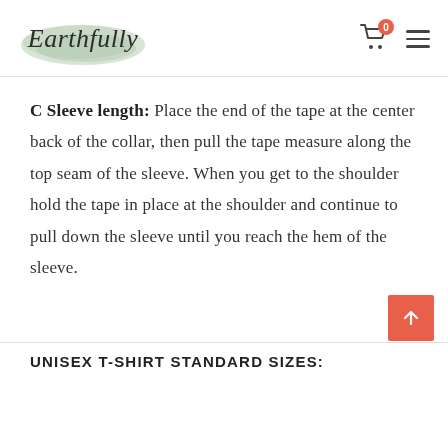Earthfully — navigation header with cart icon (0 items) and hamburger menu
C Sleeve length: Place the end of the tape at the center back of the collar, then pull the tape measure along the top seam of the sleeve. When you get to the shoulder hold the tape in place at the shoulder and continue to pull down the sleeve until you reach the hem of the sleeve.
UNISEX T-SHIRT STANDARD SIZES: